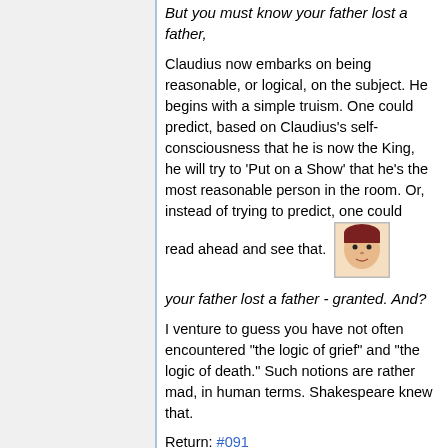But you must know your father lost a father,
Claudius now embarks on being reasonable, or logical, on the subject. He begins with a simple truism. One could predict, based on Claudius's self-consciousness that he is now the King, he will try to 'Put on a Show' that he's the most reasonable person in the room. Or, instead of trying to predict, one could read ahead and see that.
your father lost a father - granted. And?
I venture to guess you have not often encountered "the logic of grief" and "the logic of death." Such notions are rather mad, in human terms. Shakespeare knew that.
Return: #091
02-092
That father lost, lost his, and the survivor